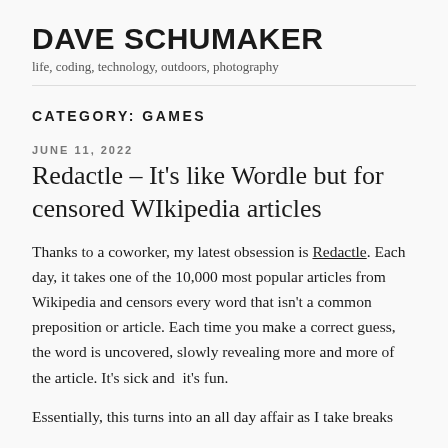DAVE SCHUMAKER
life, coding, technology, outdoors, photography
CATEGORY: GAMES
JUNE 11, 2022
Redactle – It's like Wordle but for censored WIkipedia articles
Thanks to a coworker, my latest obsession is Redactle. Each day, it takes one of the 10,000 most popular articles from Wikipedia and censors every word that isn't a common preposition or article. Each time you make a correct guess, the word is uncovered, slowly revealing more and more of the article. It's sick and  it's fun.
Essentially, this turns into an all day affair as I take breaks